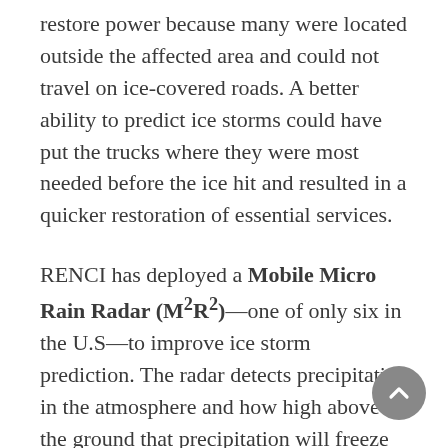restore power because many were located outside the affected area and could not travel on ice-covered roads. A better ability to predict ice storms could have put the trucks where they were most needed before the ice hit and resulted in a quicker restoration of essential services.
RENCI has deployed a Mobile Micro Rain Radar (M²R²)—one of only six in the U.S—to improve ice storm prediction. The radar detects precipitation in the atmosphere and how high above the ground that precipitation will freeze—the freezing line. Above the freezing line, precipitation is frozen, and how close to the surface that line is determines whether precipitation falls as rain